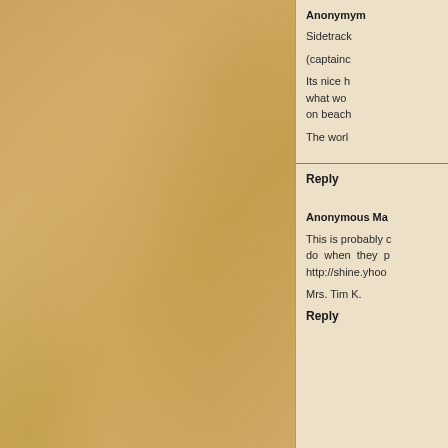[Figure (photo): Left two-thirds of page showing textured parchment/leather background in warm tan and golden-brown tones]
Anonymous
Sidetrack
(captainc
Its nice h what wou on beach
The worl
Reply
Anonymous Ma
This is probably o do when they p http://shine.yahoo
Mrs. Tim K.
Reply